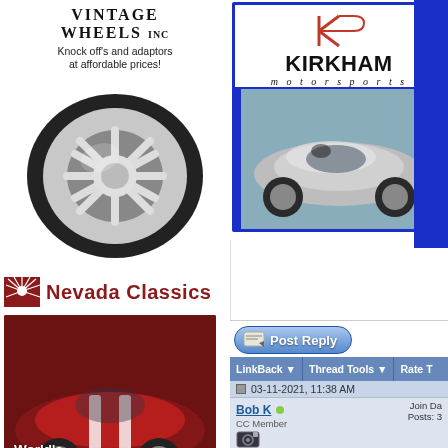[Figure (advertisement): Vintage Wheels Inc advertisement with chrome wheel image, 'Knock off's and adaptors at affordable prices!']
[Figure (advertisement): Nevada Classics - World's Oldest Authorized Shelby Cobra Dealer advertisement with red cobra car]
[Figure (logo): MMG Motorsports logo with car outline]
[Figure (advertisement): Kirkham Motorsports advertisement with silver cobra car on blue background]
[Figure (screenshot): Forum interface snippet showing Post Reply button, LinkBack, Thread Tools, Rate T toolbar, post dated 03-11-2021 11:38 AM, user Bob K CC Member, post titled Confused, text starting 'Hello Guys, new guy here. I'm a bit co...']